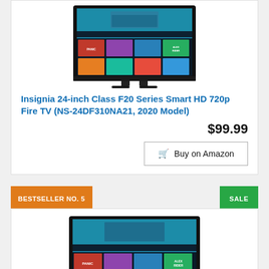[Figure (photo): Insignia 24-inch TV showing The Office on Fire TV interface]
Insignia 24-inch Class F20 Series Smart HD 720p Fire TV (NS-24DF310NA21, 2020 Model)
$99.99
Buy on Amazon
BESTSELLER NO. 5
SALE
[Figure (photo): Insignia 32-inch TV showing The Office on Fire TV interface]
Insignia 32-inch Class F20 Series Smart HD